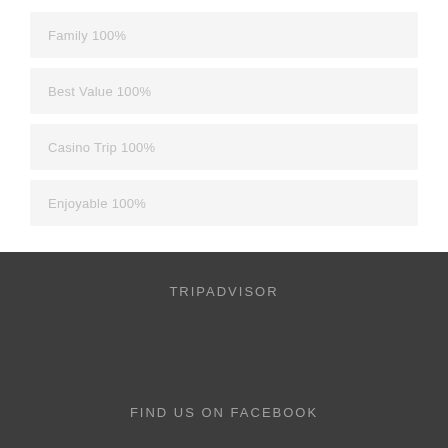Family 100%
Best Value 100%
Casino Trip 100%
Enjoyable 100%
TRIPADVISOR
FIND US ON FACEBOOK